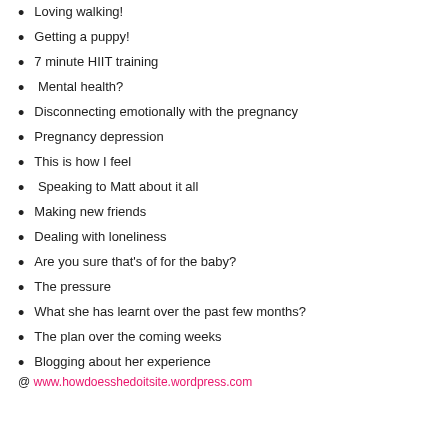Loving walking!
Getting a puppy!
7 minute HIIT training
Mental health?
Disconnecting emotionally with the pregnancy
Pregnancy depression
This is how I feel
Speaking to Matt about it all
Making new friends
Dealing with loneliness
Are you sure that's of for the baby?
The pressure
What she has learnt over the past few months?
The plan over the coming weeks
Blogging about her experience
@ www.howdoesshedoitsite.wordpress.com